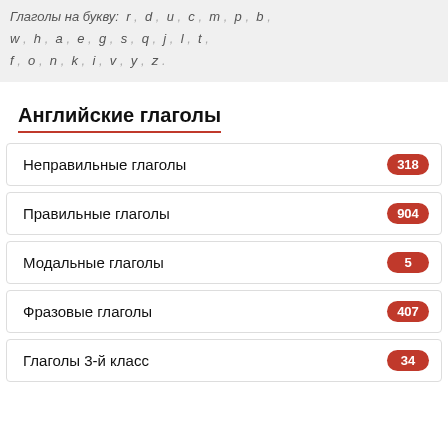Глаголы на букву: r, d, u, c, m, p, b, w, h, a, e, g, s, q, j, l, t, f, o, n, k, i, v, y, z
Английские глаголы
Неправильные глаголы 318
Правильные глаголы 904
Модальные глаголы 5
Фразовые глаголы 407
Глаголы 3-й класс 34